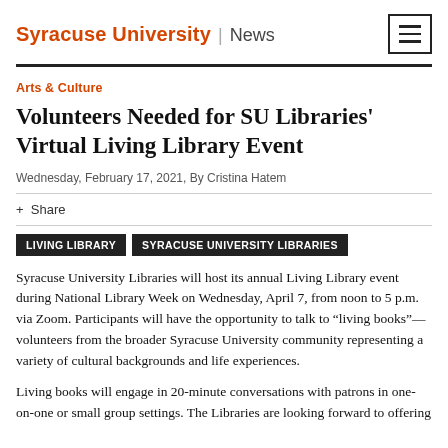Syracuse University | News
Arts & Culture
Volunteers Needed for SU Libraries' Virtual Living Library Event
Wednesday, February 17, 2021, By Cristina Hatem
+ Share
LIVING LIBRARY   SYRACUSE UNIVERSITY LIBRARIES
Syracuse University Libraries will host its annual Living Library event during National Library Week on Wednesday, April 7, from noon to 5 p.m. via Zoom. Participants will have the opportunity to talk to “living books”—volunteers from the broader Syracuse University community representing a variety of cultural backgrounds and life experiences.
Living books will engage in 20-minute conversations with patrons in one-on-one or small group settings. The Libraries are looking forward to offering